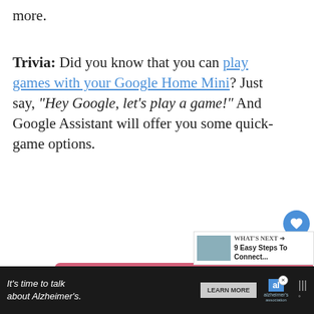more.
Trivia: Did you know that you can play games with your Google Home Mini? Just say, "Hey Google, let's play a game!" And Google Assistant will offer you some quick-game options.
[Figure (photo): Advertisement image showing a cat with hearts on a pink/red background and the word BEST partially visible, with a close button (X) in the corner.]
[Figure (screenshot): What's NEXT callout showing thumbnail and text '9 Easy Steps To Connect...']
It's time to talk about Alzheimer's.
LEARN MORE
[Figure (logo): Alzheimer's association logo]